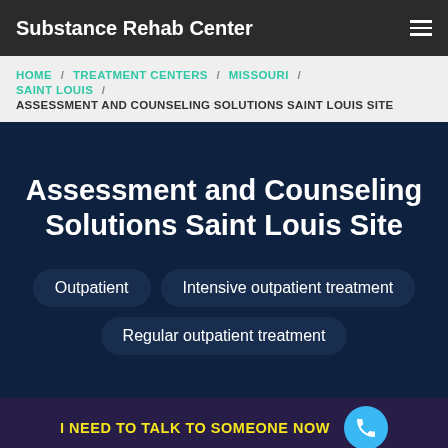Substance Rehab Center
HOME / TREATMENT CENTERS / MISSOURI / SAINT LOUIS / ASSESSMENT AND COUNSELING SOLUTIONS SAINT LOUIS SITE
Assessment and Counseling Solutions Saint Louis Site
Outpatient
Intensive outpatient treatment
Regular outpatient treatment
I NEED TO TALK TO SOMEONE NOW